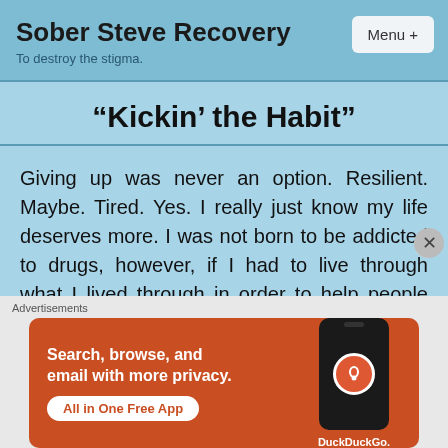Sober Steve Recovery — To destroy the stigma.
“Kickin’ the Habit”
Giving up was never an option. Resilient. Maybe. Tired. Yes. I really just know my life deserves more. I was not born to be addicted to drugs, however, if I had to live through what I lived through in order to help people who are still struggling. It was worth every minute. I
[Figure (screenshot): DuckDuckGo advertisement banner: 'Search, browse, and email with more privacy. All in One Free App' with phone image and DuckDuckGo logo on orange/red background.]